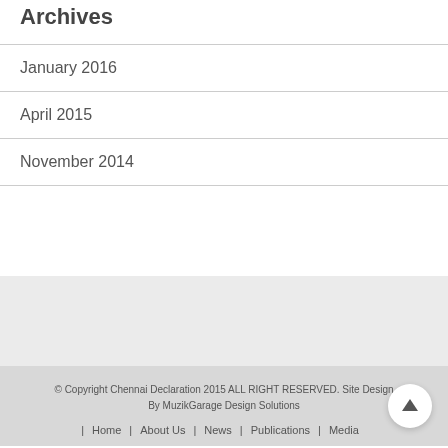Archives
January 2016
April 2015
November 2014
© Copyright Chennai Declaration 2015 ALL RIGHT RESERVED. Site Design By MuzikGarage Design Solutions
| Home | About Us | News | Publications | Media